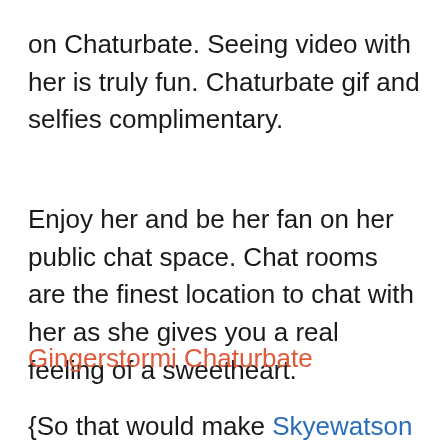on Chaturbate. Seeing video with her is truly fun. Chaturbate gif and selfies complimentary.
Enjoy her and be her fan on her public chat space. Chat rooms are the finest location to chat with her as she gives you a real feeling of a sweetheart.
Gingerstormi Chaturbate
{So that would make Skyewatson happy. If you likewise want to be her brand-new buddy, come to her space as quickly as possible. Skyewatson would likewise